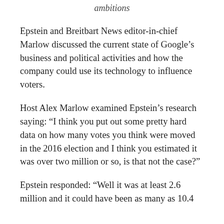ambitions
Epstein and Breitbart News editor-in-chief Marlow discussed the current state of Google’s business and political activities and how the company could use its technology to influence voters.
Host Alex Marlow examined Epstein’s research saying: “I think you put out some pretty hard data on how many votes you think were moved in the 2016 election and I think you estimated it was over two million or so, is that not the case?”
Epstein responded: “Well it was at least 2.6 million and it could have been as many as 10.4 million and it could have been even more than that…”